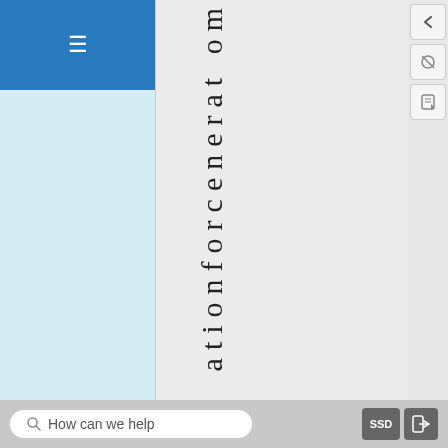[Figure (screenshot): UI screenshot showing a navigation sidebar with blue menu button (hamburger icon), a light blue sidebar panel, a grey main content area with vertical text reading 'ationforcenteratom', right-side panel with icons, and a bottom search/toolbar bar with 'How can we help' search box, SSD button, and exit button.]
ationforceneration
How can we help